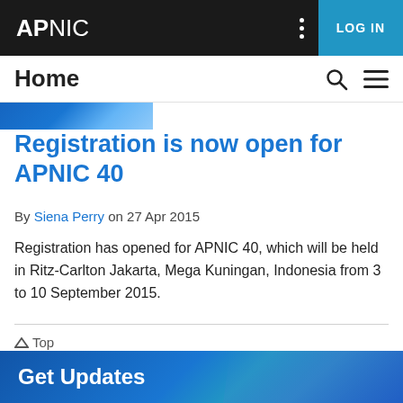APNIC | LOG IN
Home
Registration is now open for APNIC 40
By Siena Perry on 27 Apr 2015
Registration has opened for APNIC 40, which will be held in Ritz-Carlton Jakarta, Mega Kuningan, Indonesia from 3 to 10 September 2015.
^ Top
Get Updates